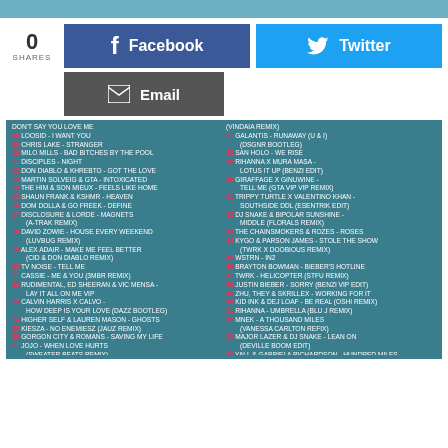[Figure (infographic): Social share bar with 0 shares, Facebook and Twitter buttons, and Email button]
DON'T SAY YOU LOVE ME (VINDAIA REMIX)
08 LOOSID - I WANT YOU
09 CHRIS LAKE - STRANGER
10 MILO MILLS - BAD BITCHES BY THE POOL
11 DISCIPLES - NIGHT
12 DON DIABLO & KHREBTO - GOT THE LOVE
13 MARTIN SOLVEIG & GTA - INTOXICATED
14 THE HIM & SON MIEUX - FEELS LIKE HOME
15 SHAUN FRANK & KSHMR - HEAVEN
16 DOM DOLLA & GO FREEK - DEFINE
17 DISCLOSURE & LORDE - MAGNETS (A-TRAK REMIX)
18 DAVID ZOWIE - HOUSE EVERY WEEKEND (LUVBUG REMIX)
19 ALEX ADAIR - MAKE ME FEEL BETTER (CID & DON DIABLO REMIX)
20 TV NOISE - TELL ME
21 CASSIE - ME & YOU (3MBR REMIX)
22 RUDIMENTAL, ED SHEERAN & VIC MENSA - LAY IT ALL ON ME VIP
23 CALVIN HARRIS X CALVO - HOW DEEP IS YOUR LOVE (DAZZ BOOTLEG)
24 HIGHER SELF & LAUREN MASON - GHOSTS
25 KIESZA - NO ENEMIESZ (JAUZ REMIX)
26 GORGON CITY & ROMANS - SAVING MY LIFE
27 JOJO - WHEN LOVE HURTS (SWEATER BEATS REMIX)
28 TOMMY TRASH - LUV U GIV (NGHTMRE REMIX)
29 COYOTE KISSES - VASARELY VIP
30 EASY GIRL - HEY GIRL
31 KRISS KROSS & CHOCO - UNTIL THE MORNING (CMCS REMIX)
37 GALANTIS - RUNAWAY (U & I) (DSGNR BOOTLEG)
38 SAN HOLO - WE RISE
39 RIHANNA X MURA MASA - LOTUS IT UP (BENZI EDIT)
40 GIRAFFAGE X GINUWINE - TELL ME (GTA VIP VIP REMIX)
41 TRIPPY TURTLE X VALENTINO KHAN - SOUTHSIDE DDL (ESENTRIK EDIT)
42 DJ SNAKE & BIPOLAR SUNSHINE - MIDDLE (FLORALS REMIX)
43 THE CHAINSMOKERS & ROZES - ROSES
44 KYGO & PARSON JAMES - STOLE THE SHOW (TWRK X DOOBIOUS REMIX)
45 WSTRN - IN2
46 BRAYTON BOWMAN - BIEBER'S HOTLINE
47 TWRK - HELICOPTER (STFU REMIX)
48 JUSTIN BIEBER - SORRY (BENZI VIP EDIT)
49 ZHU, THEY & SKRILLEX - WORKING FOR IT
50 KID INK & DEJ LOAF - BE REAL (OSHI REMIX)
51 RIHANNA - UMBRELLA (BLU J REMIX)
52 MNEK - A THOUSAND MILES (VANESSA CARLTON REFIX)
53 MAJOR LAZER & DJ SNAKE - LEAN ON (DEVILLE BOOM EDIT)
54 YALL & GABRIELA RICHARDSON - HUNDRED MILES
55 MIKE POSNER - I TOOK A PILL IN IBIZA (SEEB REMIX)
56 MURA MASA & NAO - FIREFLY
57 JACK GARRATT - BREATHE LIFE (BENZI EDIT)
58 MAJOR LAZER - BE TOGETHER (THE RED BARON REMIX)